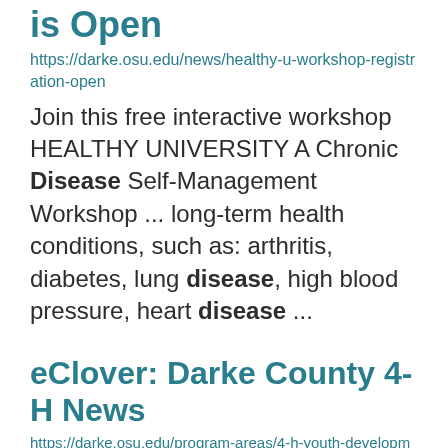is Open
https://darke.osu.edu/news/healthy-u-workshop-registration-open
Join this free interactive workshop HEALTHY UNIVERSITY A Chronic Disease Self-Management Workshop ... long-term health conditions, such as: arthritis, diabetes, lung disease, high blood pressure, heart disease ...
eClover: Darke County 4-H News
https://darke.osu.edu/program-areas/4-h-youth-development/eclover-darke-county-4-h-news
June 17 June 24 July 1 July 8 No update July 15 July 22 July 29 August 5 August 12 August 19 no update ... fair week